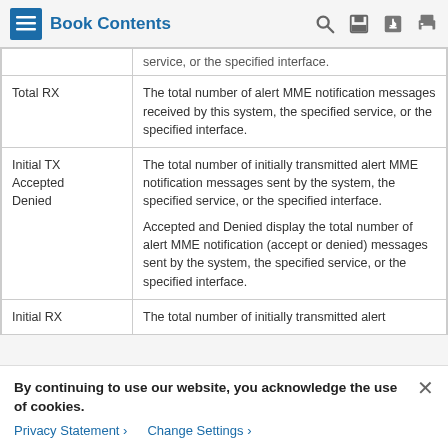Book Contents
|  |  |
| --- | --- |
| (truncated) | service, or the specified interface. |
| Total RX | The total number of alert MME notification messages received by this system, the specified service, or the specified interface. |
| Initial TX
Accepted
Denied | The total number of initially transmitted alert MME notification messages sent by the system, the specified service, or the specified interface.

Accepted and Denied display the total number of alert MME notification (accept or denied) messages sent by the system, the specified service, or the specified interface. |
| Initial RX | The total number of initially transmitted alert |
By continuing to use our website, you acknowledge the use of cookies.
Privacy Statement > Change Settings >